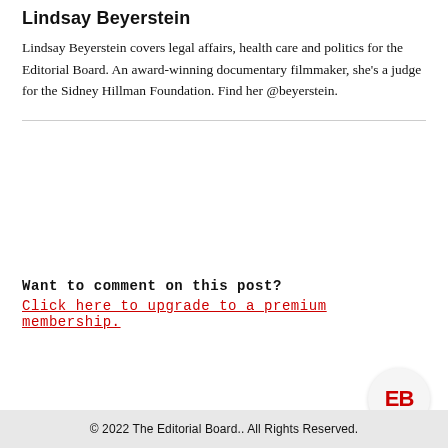Lindsay Beyerstein
Lindsay Beyerstein covers legal affairs, health care and politics for the Editorial Board. An award-winning documentary filmmaker, she's a judge for the Sidney Hillman Foundation. Find her @beyerstein.
Want to comment on this post?
Click here to upgrade to a premium membership.
© 2022 The Editorial Board.. All Rights Reserved.